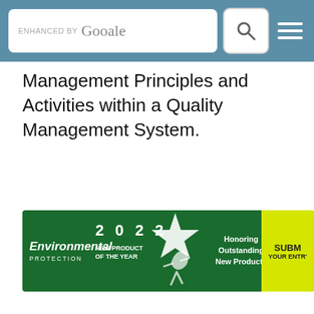ENHANCED BY Google [search button] [menu button]
Management Principles and Activities within a Quality Management System.
[Figure (infographic): Environmental Protection 2022 New Product of the Year banner — Honoring Outstanding New Products. SUBMIT YOUR ENTRY button visible at right.]